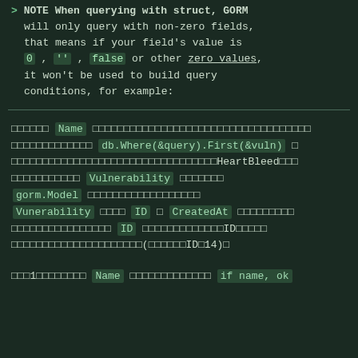NOTE When querying with struct, GORM will only query with non-zero fields, that means if your field's value is 0, '', false or other zero values, it won't be used to build query conditions, for example:
กกกกกก Name กกกกกกกกกกกกกกกกกกกกกกกกกกกกกกกกกกกกก กกกกกกกกกกกกก db.Where(&query).First(&vuln) กกกกกกกกกกกกกกกกกกกกกกกกกกกกกกกกกHeartBleedกกก กกกกกกกกกกก Vulnerability กกกกกกก gorm.Model กกกกกกกกกกกกกกกกกก Vunerability กกกก ID ก CreatedAt กกกกกกกกก กกกกกกกกกกกกกกกก ID กกกกกกกกกกกกกกกIDกกกกก กกกกกกกกกกกกกกกกกกกกก(กกกกกกIDก14)ก
กกก1กกกกกกกก Name กกกกกกกกกกกกก if name, ok